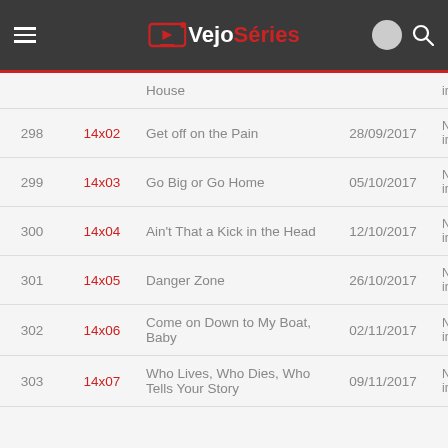VejoSéries
| # | EP | Title | Date | Status |
| --- | --- | --- | --- | --- |
|  |  | House |  | informado |
| 298 | 14x02 | Get off on the Pain | 28/09/2017 | Não informado |
| 299 | 14x03 | Go Big or Go Home | 05/10/2017 | Não informado |
| 300 | 14x04 | Ain't That a Kick in the Head | 12/10/2017 | Não informado |
| 301 | 14x05 | Danger Zone | 26/10/2017 | Não informado |
| 302 | 14x06 | Come on Down to My Boat, Baby | 02/11/2017 | Não informado |
| 303 | 14x07 | Who Lives, Who Dies, Who Tells Your Story | 09/11/2017 | Não informado |